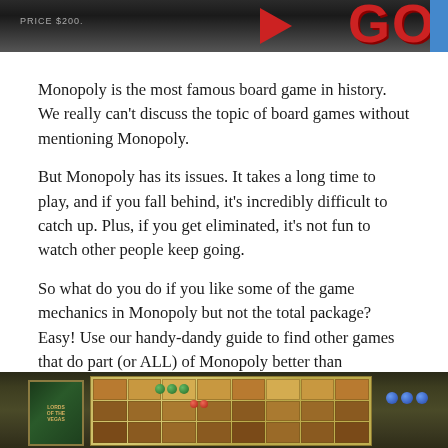[Figure (photo): Partial view of a Monopoly board showing the red GO letters and arrow, with a blue edge strip visible on the right.]
Monopoly is the most famous board game in history. We really can't discuss the topic of board games without mentioning Monopoly.
But Monopoly has its issues. It takes a long time to play, and if you fall behind, it's incredibly difficult to catch up. Plus, if you get eliminated, it's not fun to watch other people keep going.
So what do you do if you like some of the game mechanics in Monopoly but not the total package? Easy! Use our handy-dandy guide to find other games that do part (or ALL) of Monopoly better than Monopoly!
[Figure (photo): Photo of a Lords of Vegas board game box and game board with colorful pieces and cards spread out on a table.]